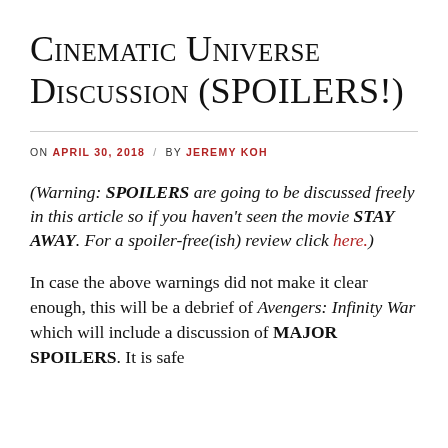Cinematic Universe Discussion (SPOILERS!)
ON APRIL 30, 2018 / BY JEREMY KOH
(Warning: SPOILERS are going to be discussed freely in this article so if you haven't seen the movie STAY AWAY. For a spoiler-free(ish) review click here.)
In case the above warnings did not make it clear enough, this will be a debrief of Avengers: Infinity War which will include a discussion of MAJOR SPOILERS. It is safe